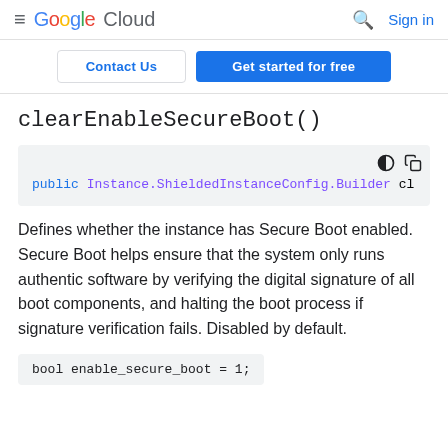≡ Google Cloud  🔍 Sign in
Contact Us | Get started for free
clearEnableSecureBoot()
public Instance.ShieldedInstanceConfig.Builder cl
Defines whether the instance has Secure Boot enabled. Secure Boot helps ensure that the system only runs authentic software by verifying the digital signature of all boot components, and halting the boot process if signature verification fails. Disabled by default.
bool enable_secure_boot = 1;